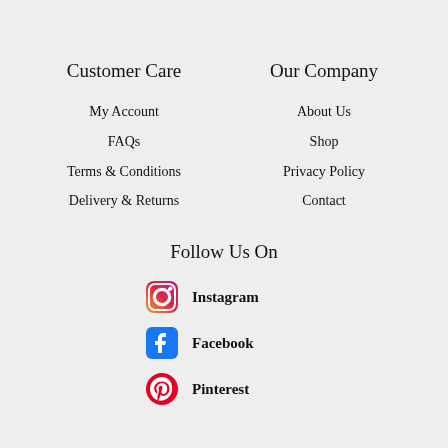Customer Care
My Account
FAQs
Terms & Conditions
Delivery & Returns
Our Company
About Us
Shop
Privacy Policy
Contact
Follow Us On
Instagram
Facebook
Pinterest